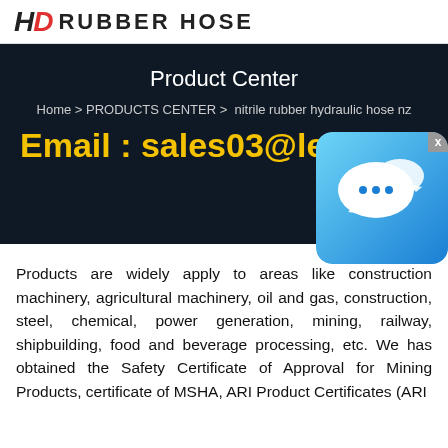HD RUBBER HOSE
Product Center
Home > PRODUCTS CENTER >  nitrile rubber hydraulic hose nz
Email : sales03@lethose.c
[Figure (illustration): Chat bubble icon with blue gradient background and white speech bubble graphic, with an X close button in the top right corner.]
Products are widely apply to areas like construction machinery, agricultural machinery, oil and gas, construction, steel, chemical, power generation, mining, railway, shipbuilding, food and beverage processing, etc. We has obtained the Safety Certificate of Approval for Mining Products, certificate of MSHA, ARI Product Certificates (ARI